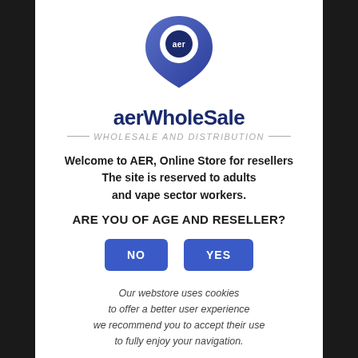[Figure (logo): aerWholeSale logo: a blue teardrop/location-pin shaped icon with 'aer' text inside, above the brand name 'aerWholeSale' and tagline 'WHOLESALE AND DISTRIBUTION']
Welcome to AER, Online Store for resellers
The site is reserved to adults
and vape sector workers.
ARE YOU OF AGE AND RESELLER?
NO   YES
Our webstore uses cookies
to offer a better user experience
we recommend you to accept their use
to fully enjoy your navigation.